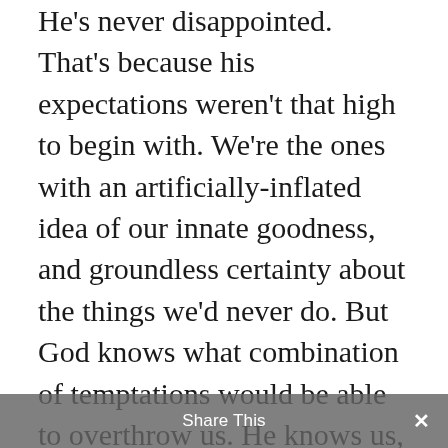He's never disappointed. That's because his expectations weren't that high to begin with. We're the ones with an artificially-inflated idea of our innate goodness, and groundless certainty about the things we'd never do. But God knows what combination of temptations would be able to overthrow us. He knows us, even if we don't know ourselves.

My spiritual father, Father George Calciu (1925–2006) was
Share This ×